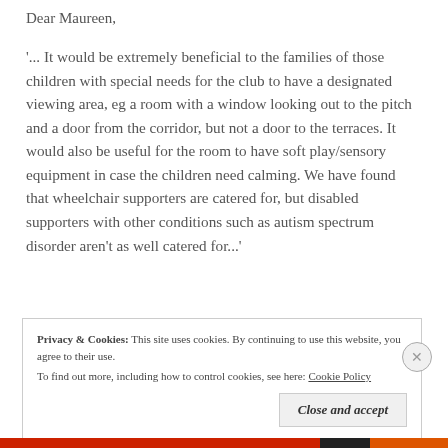Dear Maureen,
'... It would be extremely beneficial to the families of those children with special needs for the club to have a designated viewing area, eg a room with a window looking out to the pitch and a door from the corridor, but not a door to the terraces. It would also be useful for the room to have soft play/sensory equipment in case the children need calming. We have found that wheelchair supporters are catered for, but disabled supporters with other conditions such as autism spectrum disorder aren't as well catered for...'
Privacy & Cookies: This site uses cookies. By continuing to use this website, you agree to their use. To find out more, including how to control cookies, see here: Cookie Policy
Close and accept